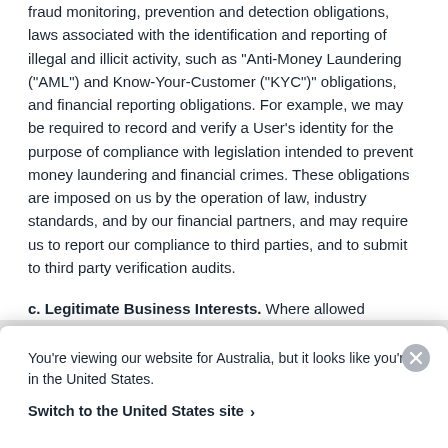fraud monitoring, prevention and detection obligations, laws associated with the identification and reporting of illegal and illicit activity, such as "Anti-Money Laundering ("AML") and Know-Your-Customer ("KYC")" obligations, and financial reporting obligations. For example, we may be required to record and verify a User's identity for the purpose of compliance with legislation intended to prevent money laundering and financial crimes. These obligations are imposed on us by the operation of law, industry standards, and by our financial partners, and may require us to report our compliance to third parties, and to submit to third party verification audits.
c. Legitimate Business Interests. Where allowed
You're viewing our website for Australia, but it looks like you're in the United States.
Switch to the United States site ›